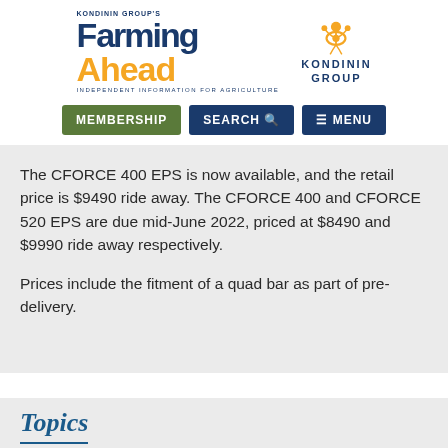[Figure (logo): Farming Ahead by Kondinin Group logo with tagline 'Independent Information for Agriculture' and Kondinin Group symbol]
MEMBERSHIP   SEARCH   MENU
The CFORCE 400 EPS is now available, and the retail price is $9490 ride away. The CFORCE 400 and CFORCE 520 EPS are due mid-June 2022, priced at $8490 and $9990 ride away respectively.
Prices include the fitment of a quad bar as part of pre-delivery.
Topics